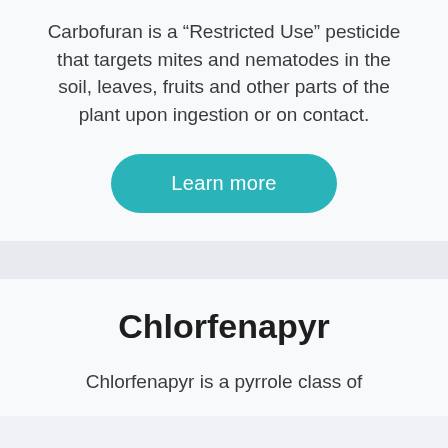Carbofuran is a “Restricted Use” pesticide that targets mites and nematodes in the soil, leaves, fruits and other parts of the plant upon ingestion or on contact.
[Figure (other): Teal rounded button labeled 'Learn more']
Chlorfenapyr
Chlorfenapyr is a pyrrole class of